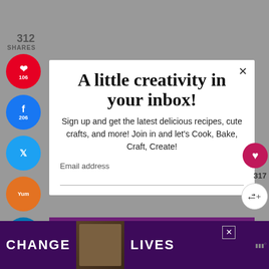312
SHARES
[Figure (infographic): Social share sidebar with Pinterest (106), Facebook (206), Twitter, Yummly, LinkedIn, Mix, WhatsApp buttons]
A little creativity in your inbox!
Sign up and get the latest delicious recipes, cute crafts, and more! Join in and let's Cook, Bake, Craft, Create!
Email address
Subscribe
317
[Figure (photo): What's Next widget showing Chicken Mushrooms... article thumbnail]
WHAT'S NEXT → Chicken Mushrooms...
[Figure (infographic): CHANGE LIVES advertisement banner with cat photo]